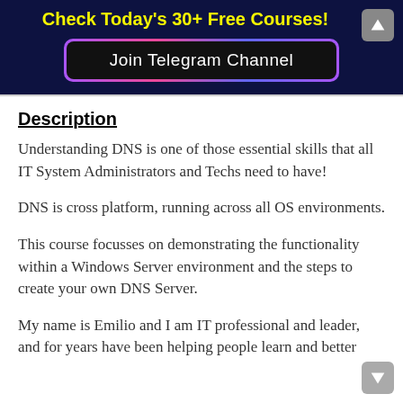Check Today's 30+ Free Courses!
[Figure (other): Join Telegram Channel button with gradient border on dark navy background]
Description
Understanding DNS is one of those essential skills that all IT System Administrators and Techs need to have!
DNS is cross platform, running across all OS environments.
This course focusses on demonstrating the functionality within a Windows Server environment and the steps to create your own DNS Server.
My name is Emilio and I am IT professional and leader, and for years have been helping people learn and better